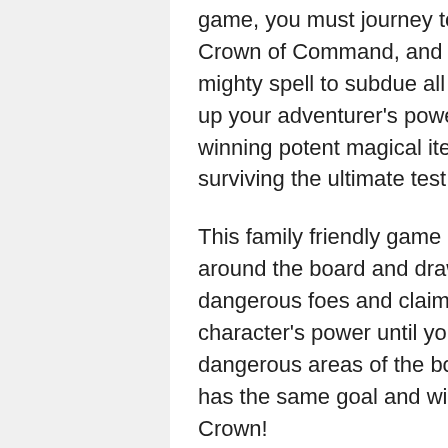game, you must journey to the heart of the land to find the Crown of Command, and then use its ancient magic to cast a mighty spell to subdue all your rivals. Only by gradually building up your adventurer's powers, gathering valuable allies, and winning potent magical items will you stand a chance of surviving the ultimate test that lies beyond the Portal of Power.
This family friendly game is simple to play – roll a die to move around the board and draw cards on spaces to encounter dangerous foes and claim powerful rewards! Build up your character's power until you are ready to travel to the more dangerous areas of the board. Beware though, each character has the same goal and will stop at nothing to be the first to the Crown!
Features list:
– Officially licensed Games Workshop game.